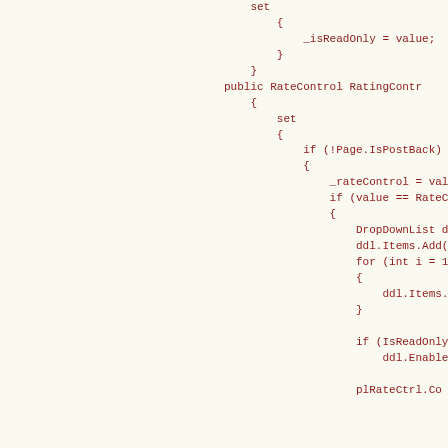Code snippet showing C# property with set accessor containing RatingControl assignment with DropDownList initialization, for loop, and IsReadOnly check